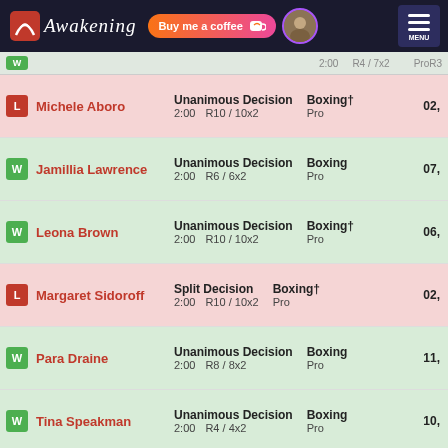Awakening | Buy me a coffee | MENU
L | Michele Aboro | Unanimous Decision | 2:00 R10/10x2 | Boxing† | Pro | 02,
W | Jamillia Lawrence | Unanimous Decision | 2:00 R6/6x2 | Boxing | Pro | 07,
W | Leona Brown | Unanimous Decision | 2:00 R10/10x2 | Boxing† | Pro | 06,
L | Margaret Sidoroff | Split Decision | 2:00 R10/10x2 | Boxing† | Pro | 02,
W | Para Draine | Unanimous Decision | 2:00 R8/8x2 | Boxing | Pro | 11,
W | Tina Speakman | Unanimous Decision | 2:00 R4/4x2 | Boxing | Pro | 10,
W | Cheryll Robertson | TKO | ….. R4/10x2 | Boxing† | Pro | 03,